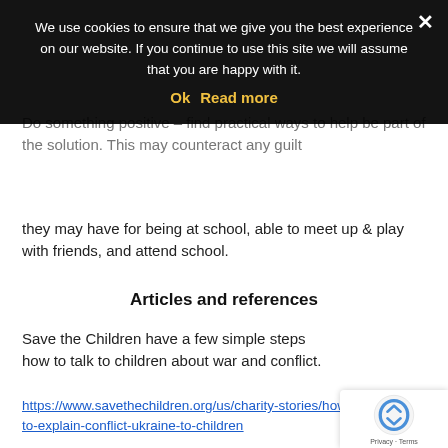Do something positive – find practical ways to help be part of the solution. This may counteract any guilt they may have for being at school, able to meet up & play with friends, and attend school.
Articles and references
Save the Children have a few simple steps how to talk to children about war and conflict.
https://www.savethechildren.org/us/charity-stories/how-to-explain-conflict-ukraine-to-children
Gov.UK was suggested by several colleagues echoe... to talk to children